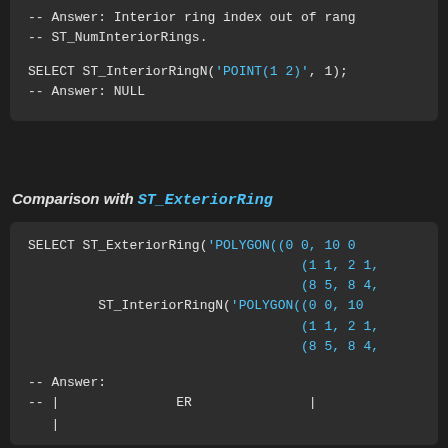-- Answer: Interior ring index out of rang
-- ST_NumInteriorRings.

SELECT ST_InteriorRingN('POINT(1 2)', 1);
-- Answer: NULL
Comparison with ST_ExteriorRing
SELECT ST_ExteriorRing('POLYGON((0 0, 10 0
                                    (1 1, 2 1,
                                    (8 5, 8 4,
         ST_InteriorRingN('POLYGON((0 0, 10
                                    (1 1, 2 1,
                                    (8 5, 8 4,

-- Answer:
--|                ER                |